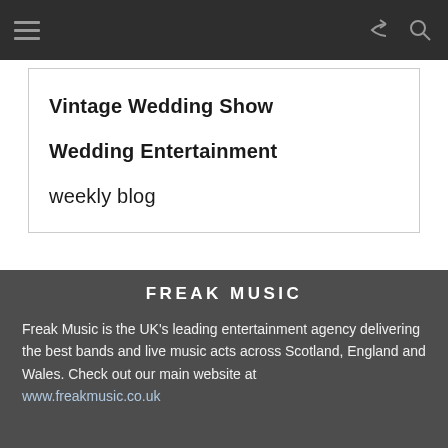[Navigation bar with hamburger menu, share icon, and search icon]
Vintage Wedding Show
Wedding Entertainment
weekly blog
FREAK MUSIC
Freak Music is the UK's leading entertainment agency delivering the best bands and live music acts across Scotland, England and Wales. Check out our main website at www.freakmusic.co.uk